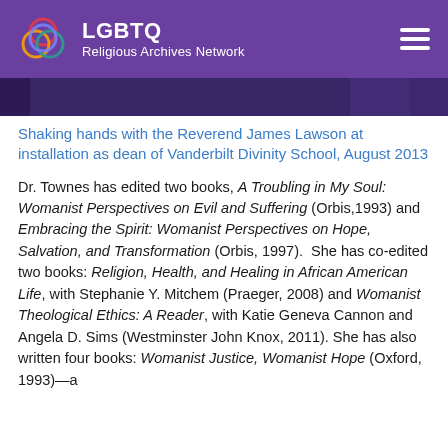LGBTQ Religious Archives Network
[Figure (photo): Photo strip showing people at an event, partially cropped]
Shaking hands with the Reverend James Lawson at installation as dean of Vanderbilt Divinity School, August 2013
Dr. Townes has edited two books, A Troubling in My Soul: Womanist Perspectives on Evil and Suffering (Orbis,1993) and Embracing the Spirit: Womanist Perspectives on Hope, Salvation, and Transformation (Orbis, 1997).  She has co-edited two books: Religion, Health, and Healing in African American Life, with Stephanie Y. Mitchem (Praeger, 2008) and Womanist Theological Ethics: A Reader, with Katie Geneva Cannon and Angela D. Sims (Westminster John Knox, 2011). She has also written four books: Womanist Justice, Womanist Hope (Oxford, 1993)—a